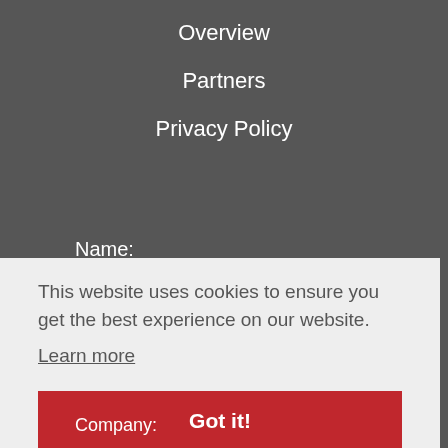Overview
Partners
Privacy Policy
Name:
This website uses cookies to ensure you get the best experience on our website.
Learn more
Got it!
Company: